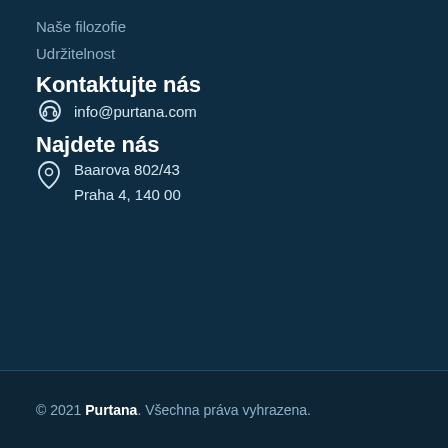Naše filozofie
Udržitelnost
Kontaktujte nás
info@purtana.com
Najdete nás
Baarova 802/43
Praha 4, 140 00
© 2021 Purtana. Všechna práva vyhrazena.